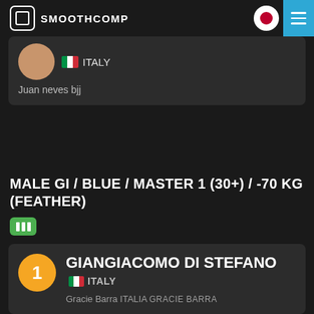SMOOTHCOMP
[Figure (screenshot): Partially visible athlete card showing Italy flag and text 'Juan neves bjj']
MALE GI / BLUE / MASTER 1 (30+) / -70 KG (FEATHER)
[Figure (infographic): Green bracket icon]
1 GIANGIACOMO DI STEFANO ITALY Gracie Barra ITALIA GRACIE BARRA